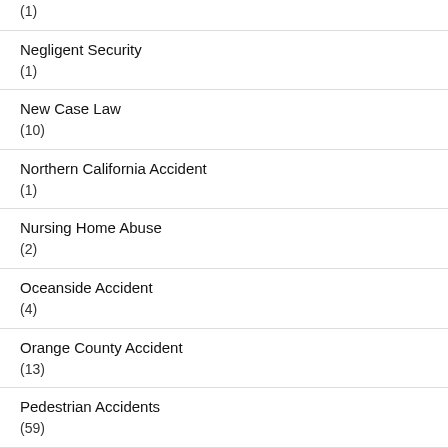(1)
Negligent Security
(1)
New Case Law
(10)
Northern California Accident
(1)
Nursing Home Abuse
(2)
Oceanside Accident
(4)
Orange County Accident
(13)
Pedestrian Accidents
(59)
Pedicab Accidents
(2)